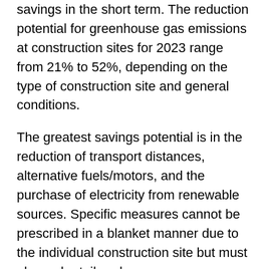savings in the short term. The reduction potential for greenhouse gas emissions at construction sites for 2023 range from 21% to 52%, depending on the type of construction site and general conditions.
The greatest savings potential is in the reduction of transport distances, alternative fuels/motors, and the purchase of electricity from renewable sources. Specific measures cannot be prescribed in a blanket manner due to the individual construction site but must always be tailored.
In parallel, cost/benefit advantages of a CO2-neutral construction site were demonstrated by the authors and quantified by means of an investment cost estimate. Depending on time of use, some small electric-powered excavators are currently less